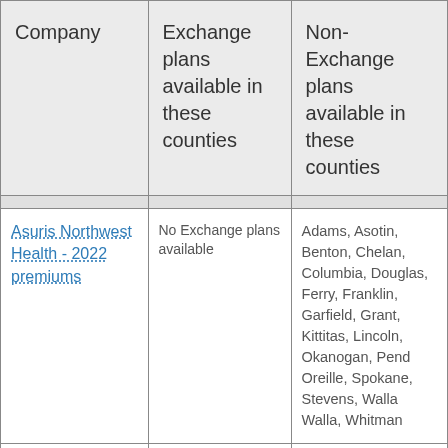| Company | Exchange plans available in these counties | Non-Exchange plans available in these counties |
| --- | --- | --- |
| Asuris Northwest Health - 2022 premiums | No Exchange plans available | Adams, Asotin, Benton, Chelan, Columbia, Douglas, Ferry, Franklin, Garfield, Grant, Kittitas, Lincoln, Okanogan, Pend Oreille, Spokane, Stevens, Walla Walla, Whitman |
| BridgeSpan Health Company - 2022... | Benton, Clark, Columbia, Franklin... | No non-Exchange plans available |